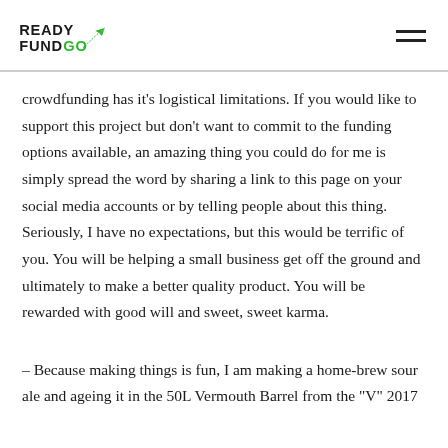READY FUND GO
crowdfunding has it’s logistical limitations. If you would like to support this project but don't want to commit to the funding options available, an amazing thing you could do for me is simply spread the word by sharing a link to this page on your social media accounts or by telling people about this thing. Seriously, I have no expectations, but this would be terrific of you. You will be helping a small business get off the ground and ultimately to make a better quality product. You will be rewarded with good will and sweet, sweet karma.
– Because making things is fun, I am making a home-brew sour ale and ageing it in the 50L Vermouth Barrel from the “V” 2017